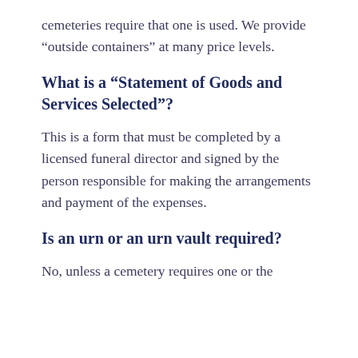cemeteries require that one is used. We provide “outside containers” at many price levels.
What is a “Statement of Goods and Services Selected”?
This is a form that must be completed by a licensed funeral director and signed by the person responsible for making the arrangements and payment of the expenses.
Is an urn or an urn vault required?
No, unless a cemetery requires one or the